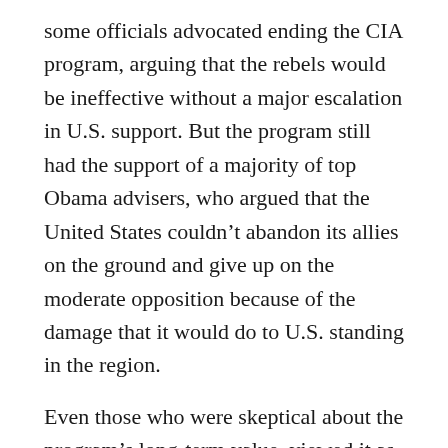some officials advocated ending the CIA program, arguing that the rebels would be ineffective without a major escalation in U.S. support. But the program still had the support of a majority of top Obama advisers, who argued that the United States couldn’t abandon its allies on the ground and give up on the moderate opposition because of the damage that it would do to U.S. standing in the region.
Even those who were skeptical about the program’s long-term value, viewed it as a key bargaining chip that could be used to wring concessions from Moscow in negotiations over Syria’s future.